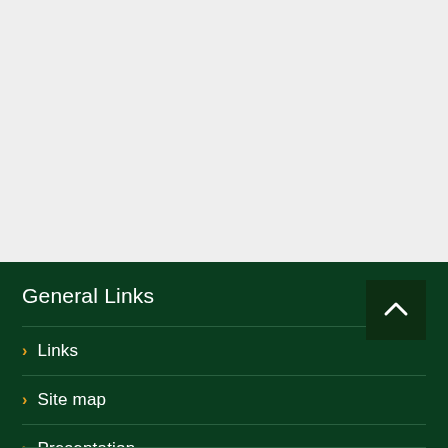General Links
Links
Site map
Presentation